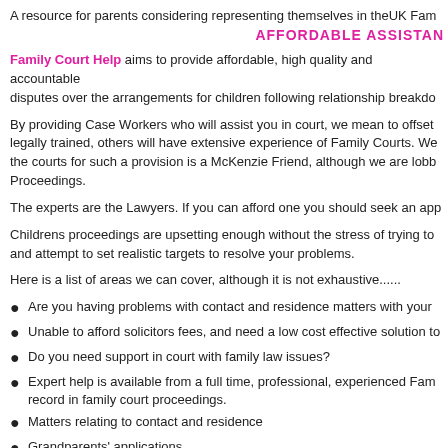A resource for parents considering representing themselves in the UK Fam
AFFORDABLE ASSISTAN
Family Court Help aims to provide affordable, high quality and accountable disputes over the arrangements for children following relationship breakdo
By providing Case Workers who will assist you in court, we mean to offset legally trained, others will have extensive experience of Family Courts. We the courts for such a provision is a McKenzie Friend, although we are lobb Proceedings.
The experts are the Lawyers. If you can afford one you should seek an app
Childrens proceedings are upsetting enough without the stress of trying to and attempt to set realistic targets to resolve your problems.
Here is a list of areas we can cover, although it is not exhaustive......
Are you having problems with contact and residence matters with your
Unable to afford solicitors fees, and need a low cost effective solution to
Do you need support in court with family law issues?
Expert help is available from a full time, professional, experienced Fam record in family court proceedings.
Matters relating to contact and residence
Grandparents' applications
Enforcement of court orders